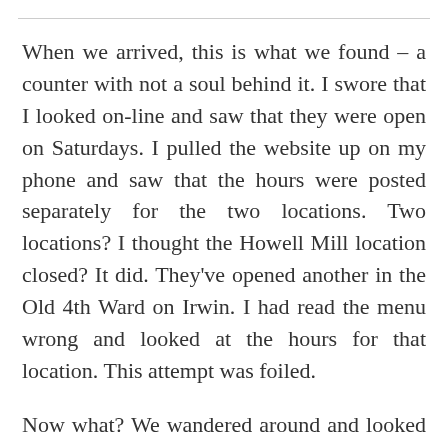When we arrived, this is what we found – a counter with not a soul behind it. I swore that I looked online and saw that they were open on Saturdays. I pulled the website up on my phone and saw that the hours were posted separately for the two locations. Two locations? I thought the Howell Mill location closed? It did. They've opened another in the Old 4th Ward on Irwin. I had read the menu wrong and looked at the hours for that location. This attempt was foiled.
Now what? We wandered around and looked at our choices, and I